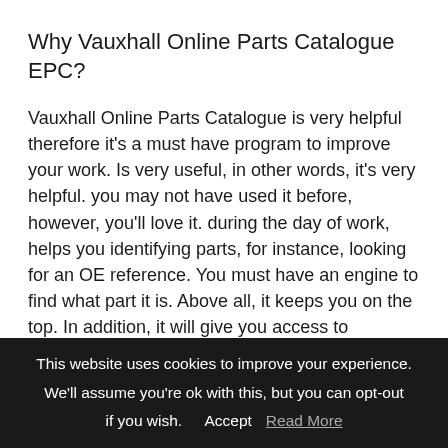Why Vauxhall Online Parts Catalogue EPC?
Vauxhall Online Parts Catalogue is very helpful therefore it's a must have program to improve your work. Is very useful, in other words, it's very helpful. you may not have used it before, however, you'll love it. during the day of work, helps you identifying parts, for instance, looking for an OE reference. You must have an engine to find what part it is. Above all, it keeps you on the top. In addition, it will give you access to manuals and how to's files. After that, you will know which part to sell. Similarly
This website uses cookies to improve your experience. We'll assume you're ok with this, but you can opt-out if you wish.   Accept   Read More